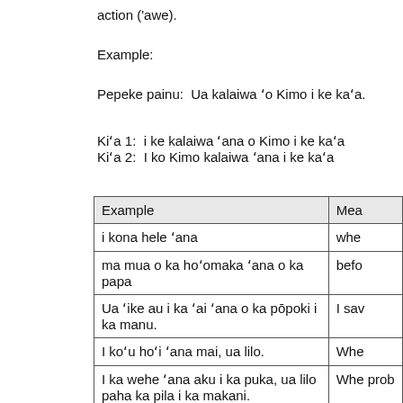action ('awe).
Example:
Pepeke painu:  Ua kalaiwa 'o Kimo i ke ka'a.
Ki'a 1:  i ke kalaiwa 'ana o Kimo i ke ka'a
Ki'a 2:  I ko Kimo kalaiwa 'ana i ke ka'a
| Example | Mea |
| --- | --- |
| i kona hele 'ana | whe |
| ma mua o ka ho'omaka 'ana o ka papa | befo |
| Ua 'ike au i ka 'ai 'ana o ka pōpoki i ka manu. | I sav |
| I ko'u ho'i 'ana mai, ua lilo. | Whe |
| I ka wehe 'ana aku i ka puka, ua lilo paha ka pila i ka makani. | Whe prob |
| Pehea ka loa'a 'ana o ka 'aihue? | How |